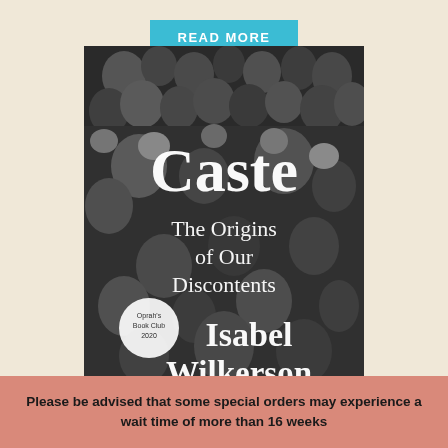READ MORE
[Figure (photo): Book cover of 'Caste: The Origins of Our Discontents' by Isabel Wilkerson. Black and white photograph of a dense crowd of people. Large white serif text reads 'Caste' at the top, below that 'The Origins of Our Discontents', and at the bottom 'Isabel Wilkerson'. An Oprah's Book Club 2020 seal is visible in the lower left of the cover.]
Please be advised that some special orders may experience a wait time of more than 16 weeks